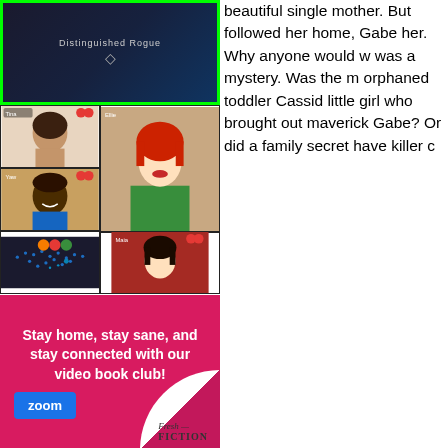[Figure (photo): Book cover with dark background and decorative diamond ornament, title text partially visible, framed with bright green border]
[Figure (screenshot): Video call grid showing 5 participants in a video conference interface with various controls]
[Figure (infographic): Zoom video book club advertisement on magenta/pink background with page curl effect and Fresh Fiction logo. Text: Stay home, stay sane, and stay connected with our video book club! with Zoom button logo.]
[Figure (photo): Book display showing Darynda Jones 'A Good Day for Chardonnay' and another book 'Bewigt' on a colorful background]
beautiful single mother. But followed her home, Gabe her. Why anyone would w was a mystery. Was the m orphaned toddler Cassid little girl who brought out maverick Gabe? Or did a family secret have killer c